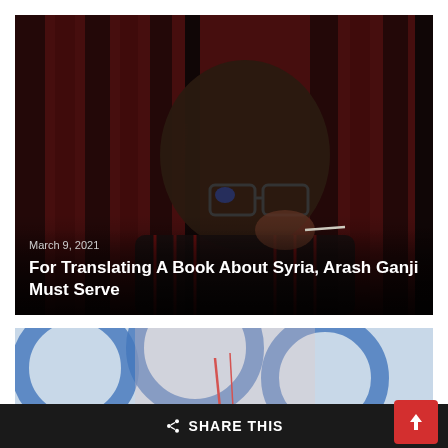[Figure (photo): A man with glasses and a beard sitting in front of a red and black patterned curtain background, partially smoking. Overlaid with the date March 9, 2021 and the headline 'For Translating A Book About Syria, Arash Ganji Must Serve']
March 9, 2021
For Translating A Book About Syria, Arash Ganji Must Serve
[Figure (photo): Partial view of a mural or artwork featuring blue geometric shapes on a light background]
SHARE THIS